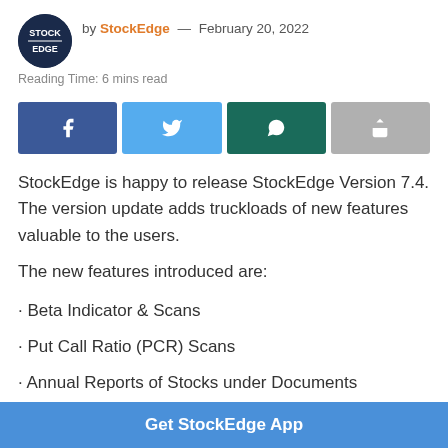by StockEdge — February 20, 2022
Reading Time: 6 mins read
[Figure (other): Social share buttons: Facebook, Twitter, WhatsApp, Share]
StockEdge is happy to release StockEdge Version 7.4. The version update adds truckloads of new features valuable to the users.
The new features introduced are:
· Beta Indicator & Scans
· Put Call Ratio (PCR) Scans
· Annual Reports of Stocks under Documents
Get StockEdge App